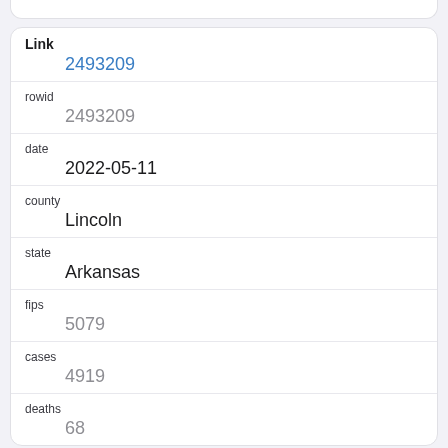| Field | Value |
| --- | --- |
| Link | 2493209 |
| rowid | 2493209 |
| date | 2022-05-11 |
| county | Lincoln |
| state | Arkansas |
| fips | 5079 |
| cases | 4919 |
| deaths | 68 |
| Field | Value |
| --- | --- |
| Link | 2493341 |